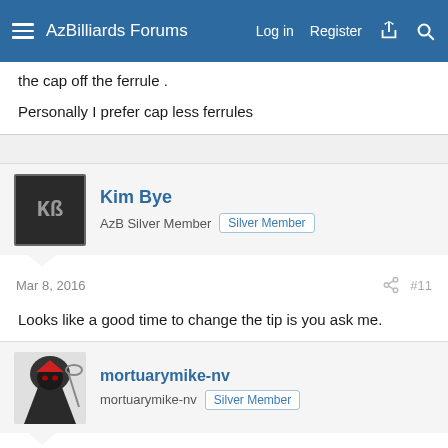AzBilliards Forums | Log in | Register
the cap off the ferrule .

Personally I prefer cap less ferrules
[Figure (other): User avatar for Kim Bye - dark background with KB initials]
Kim Bye
AzB Silver Member  Silver Member
Mar 8, 2016  #11
Looks like a good time to change the tip is you ask me.
[Figure (illustration): User avatar for mortuarymike-nv - grim reaper character illustration]
mortuarymike-nv
mortuarymike-nv  Silver Member
Mar 8, 2016  #12
Sorry double post